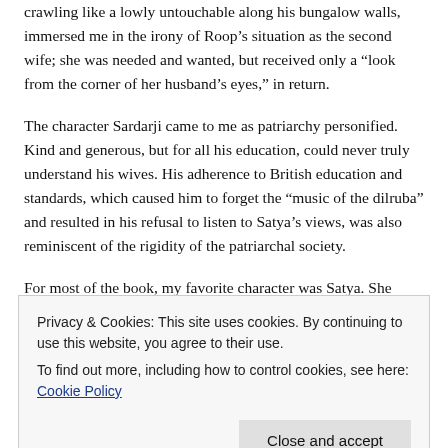crawling like a lowly untouchable along his bungalow walls, immersed me in the irony of Roop’s situation as the second wife; she was needed and wanted, but received only a “look from the corner of her husband’s eyes,” in return.
The character Sardarji came to me as patriarchy personified. Kind and generous, but for all his education, could never truly understand his wives. His adherence to British education and standards, which caused him to forget the “music of the dilruba” and resulted in his refusal to listen to Satya’s views, was also reminiscent of the rigidity of the patriarchal society.
For most of the book, my favorite character was Satya. She
Privacy & Cookies: This site uses cookies. By continuing to use this website, you agree to their use.
To find out more, including how to control cookies, see here: Cookie Policy
reality and not wished for it.